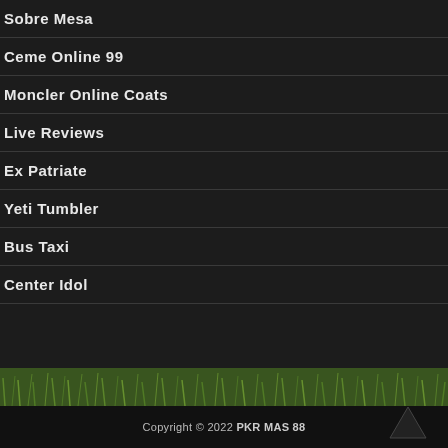Sobre Mesa
Ceme Online 99
Moncler Online Coats
Live Reviews
Ex Patriate
Yeti Tumbler
Bus Taxi
Center Idol
[Figure (photo): Grass texture strip at bottom of page]
Copyright © 2022 PKR MAS 88